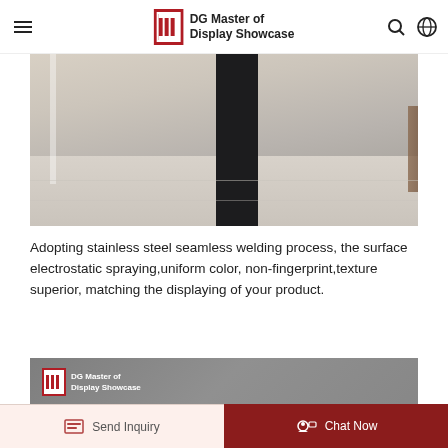DG Master of Display Showcase
[Figure (photo): Interior showcase display with dark pillar/panel and light marble-effect flooring]
Adopting stainless steel seamless welding process, the surface electrostatic spraying,uniform color, non-fingerprint,texture superior, matching the displaying of your product.
[Figure (photo): DG Master of Display Showcase branded image showing electronic/mechanical component on grey background]
Send Inquiry | Chat Now